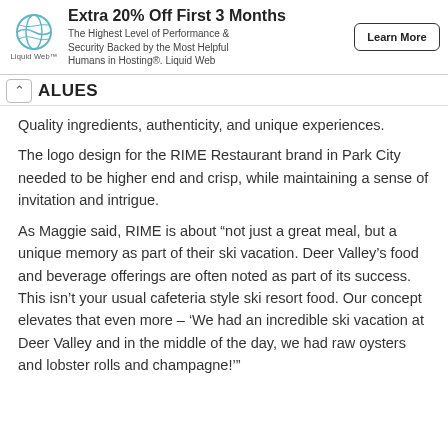[Figure (infographic): Advertisement banner for Liquid Web hosting. Shows logo (Liquid Web), headline 'Extra 20% Off First 3 Months', subtext 'The Highest Level of Performance & Security Backed by the Most Helpful Humans in Hosting®. Liquid Web', and a 'Learn More' button.]
ALUES
Quality ingredients, authenticity, and unique experiences.
The logo design for the RIME Restaurant brand in Park City needed to be higher end and crisp, while maintaining a sense of invitation and intrigue.
As Maggie said, RIME is about “not just a great meal, but a unique memory as part of their ski vacation. Deer Valley’s food and beverage offerings are often noted as part of its success. This isn’t your usual cafeteria style ski resort food. Our concept elevates that even more – ‘We had an incredible ski vacation at Deer Valley and in the middle of the day, we had raw oysters and lobster rolls and champagne!’”